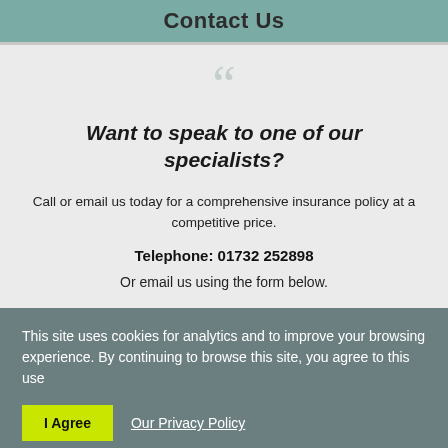Contact Us
Want to speak to one of our specialists?
Call or email us today for a comprehensive insurance policy at a competitive price.
Telephone: 01732 252898
Or email us using the form below.
This site uses cookies for analytics and to improve your browsing experience. By continuing to browse this site, you agree to this use
I Agree
Our Privacy Policy